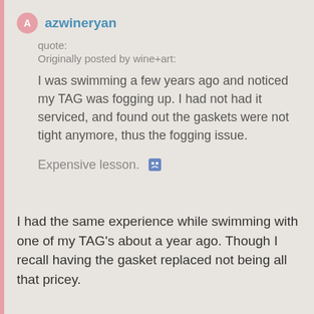azwineryan
quote:
Originally posted by wine+art:

I was swimming a few years ago and noticed my TAG was fogging up. I had not had it serviced, and found out the gaskets were not tight anymore, thus the fogging issue.

Expensive lesson. 🙁
I had the same experience while swimming with one of my TAG's about a year ago. Though I recall having the gasket replaced not being all that pricey.